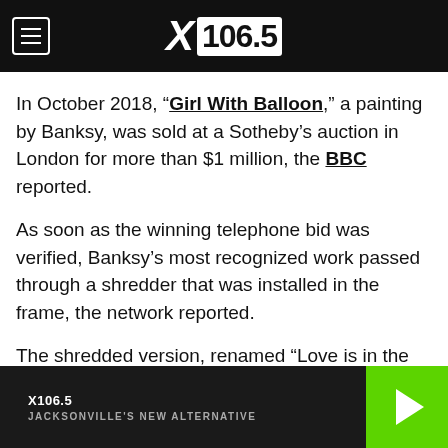X106.5
In October 2018, “Girl With Balloon,” a painting by Banksy, was sold at a Sotheby’s auction in London for more than $1 million, the BBC reported.
As soon as the winning telephone bid was verified, Banksy’s most recognized work passed through a shredder that was installed in the frame, the network reported.
The shredded version, renamed “Love is in the Bin,” sold at auction for $25.4 million in October 2021, The New York Times reported.
X106.5 JACKSONVILLE'S NEW ALTERNATIVE